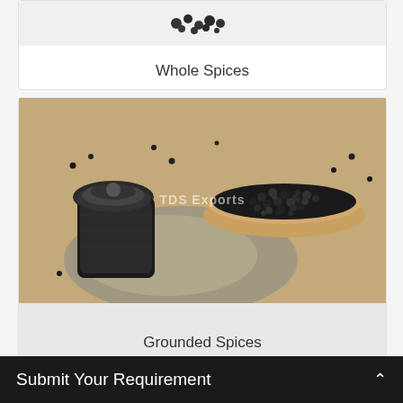[Figure (photo): Partially visible product card showing whole spices image at top]
Whole Spices
[Figure (photo): Product card showing black pepper, a pepper grinder/mill, ground pepper powder, and whole black peppercorns in a wooden bowl. Watermark text reads TDS Exports.]
Grounded Spices
Submit Your Requirement